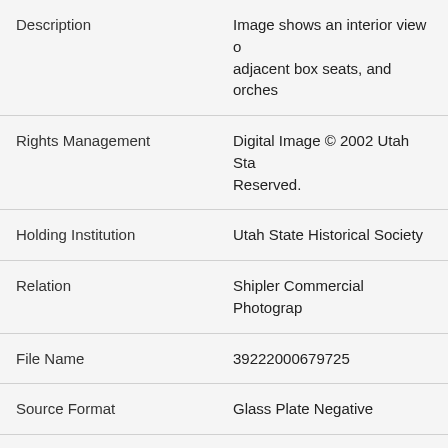| Field | Value |
| --- | --- |
| Description | Image shows an interior view of adjacent box seats, and orches |
| Rights Management | Digital Image © 2002 Utah Sta Reserved. |
| Holding Institution | Utah State Historical Society |
| Relation | Shipler Commercial Photograp |
| File Name | 39222000679725 |
| Source Format | Glass Plate Negative |
| Source Size | 8 inches x 10 inches |
| Source Physical Description | Glass plate is taped around ed |